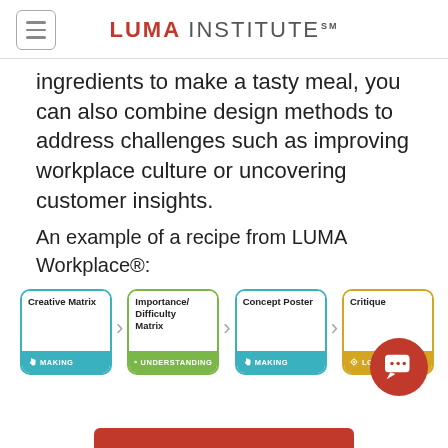LUMA INSTITUTE℠
ingredients to make a tasty meal, you can also combine design methods to address challenges such as improving workplace culture or uncovering customer insights.
An example of a recipe from LUMA Workplace®:
[Figure (flowchart): Four cards in sequence: Creative Matrix (MAKING, teal) → Importance/Difficulty Matrix (UNDERSTANDING, green) → Concept Poster (MAKING, teal) → Critique (LOOKING, gold), connected by right-pointing chevron arrows.]
[Figure (other): Red circular chat/message button in bottom-right corner]
[Figure (other): Red rounded rectangle bar at bottom center, partially visible]